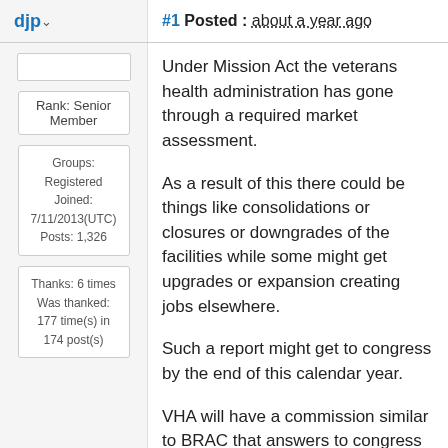djp
#1 Posted : about a year ago
Rank: Senior Member
Groups: Registered
Joined: 7/11/2013(UTC)
Posts: 1,326
Thanks: 6 times
Was thanked: 177 time(s) in 174 post(s)
Under Mission Act the veterans health administration has gone through a required market assessment.
As a result of this there could be things like consolidations or closures or downgrades of the facilities while some might get upgrades or expansion creating jobs elsewhere.
Such a report might get to congress by the end of this calendar year.
VHA will have a commission similar to BRAC that answers to congress and the politics. Job loses woukd be mainly in